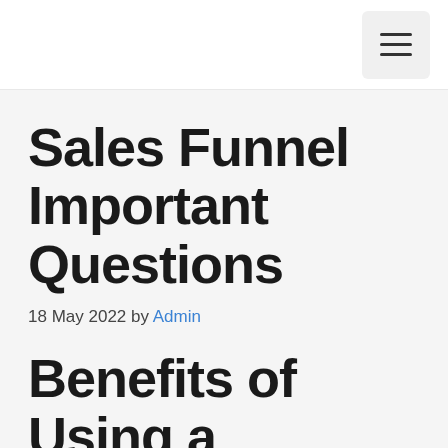☰
Sales Funnel Important Questions
18 May 2022 by Admin
Benefits of Using a Clickfunnels